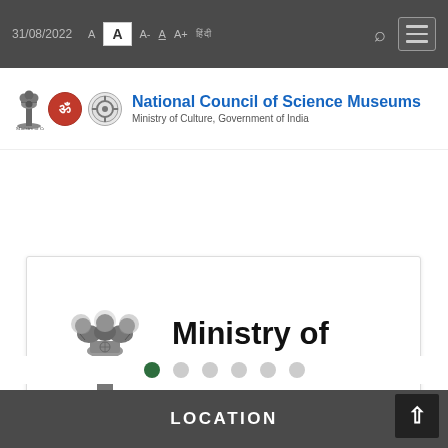31/08/2022  A  A  A-  A  A+  [Hindi]
[Figure (logo): National Council of Science Museums logo with Ashoka Pillar emblem, red circle logo, and gear wheel logo. Text: National Council of Science Museums, Ministry of Culture, Government of India]
[Figure (logo): Ministry of Culture, Government of India logo with Ashoka Pillar emblem and text 'सत्यमेव जयते']
LOCATION
LOCATION  [back to top button]